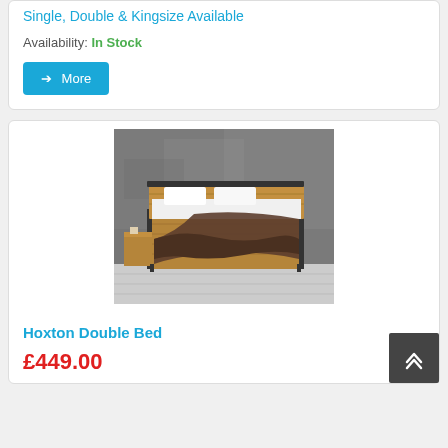Single, Double & Kingsize Available
Availability: In Stock
→ More
[Figure (photo): Photo of Hoxton Double Bed with wooden frame and metal accents, brown throw blanket, white bedding, against grey textured wall]
Hoxton Double Bed
£449.00